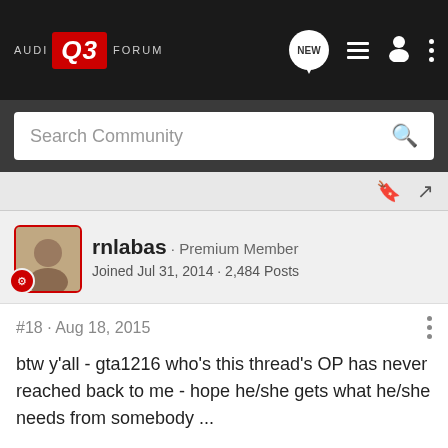AUDI Q3 FORUM
Search Community
rnlabas · Premium Member
Joined Jul 31, 2014 · 2,484 Posts
#18 · Aug 18, 2015
btw y'all - gta1216 who's this thread's OP has never reached back to me - hope he/she gets what he/she needs from somebody ...
- Roger